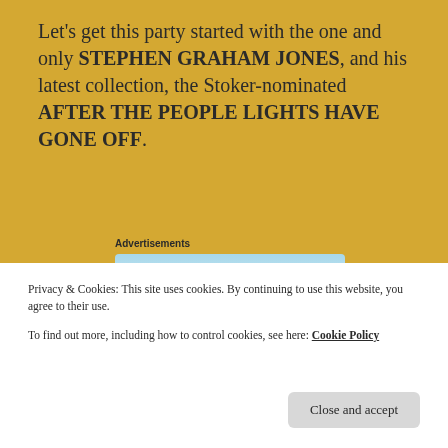Let's get this party started with the one and only STEPHEN GRAHAM JONES, and his latest collection, the Stoker-nominated AFTER THE PEOPLE LIGHTS HAVE GONE OFF.
Advertisements
[Figure (other): Advertisement banner showing '$20.99' price in purple text on a light blue background with decorative swirl and sparkle graphics]
[Figure (photo): Book cover of 'After The People Lights Have Gone Off' showing a house rooftop against a teal/green sky with bold white text]
Privacy & Cookies: This site uses cookies. By continuing to use this website, you agree to their use.
To find out more, including how to control cookies, see here: Cookie Policy